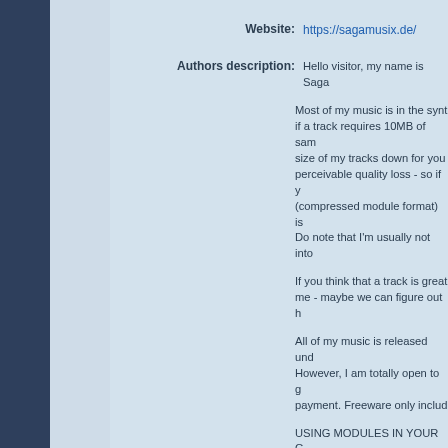Website: https://sagamusix.de/
Authors description: Hello visitor, my name is Saga
Most of my music is in the synth... if a track requires 10MB of sam... size of my tracks down for you ... perceivable quality loss - so if y... (compressed module format) is... Do note that I'm usually not into
If you think that a track is great... me - maybe we can figure out h
All of my music is released und... However, I am totally open to g... payment. Freeware only includ...
USING MODULES IN YOUR G The module versions of my son... (https://lib.openmpt.org/) librar... right in it. :) BASS is not free fo... definitely be the better choice f
STREAMING VERSIONS